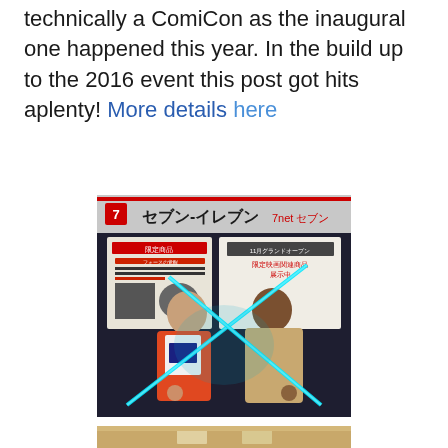technically a ComiCon as the inaugural one happened this year. In the build up to the 2016 event this post got hits aplenty! More details here
[Figure (photo): Two men posing in front of a Japanese 7-Eleven store. One is in a red/orange costume, the other in a beige jacket. Both are holding glowing blue lightsabers forming an X shape.]
[Figure (photo): Partial view of what appears to be an interior space with ceiling lights visible.]